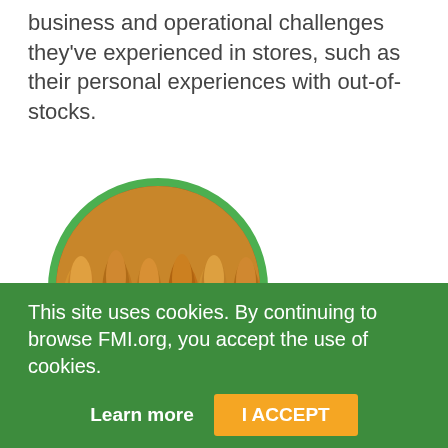business and operational challenges they've experienced in stores, such as their personal experiences with out-of-stocks.
[Figure (photo): A circular photo with a green border showing bread loaves/baguettes on a wire rack in a bakery setting.]
This site uses cookies. By continuing to browse FMI.org, you accept the use of cookies.
Learn more
I ACCEPT